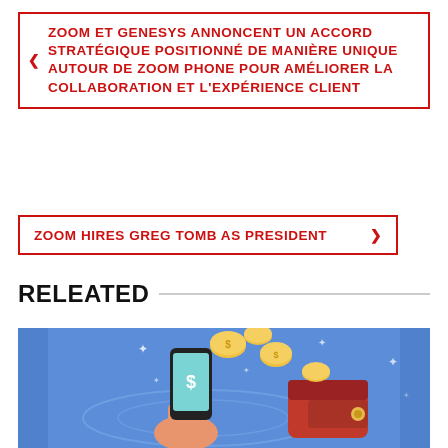ZOOM ET GENESYS ANNONCENT UN ACCORD STRATÉGIQUE POSITIONNÉ DE MANIÈRE UNIQUE AUTOUR DE ZOOM PHONE POUR AMÉLIORER LA COLLABORATION ET L'EXPÉRIENCE CLIENT
ZOOM HIRES GREG TOMB AS PRESIDENT
RELEATED
[Figure (illustration): Colorful illustration on a blue background showing a hand holding a smartphone with a dollar sign, gold coins flying through the air, and an open red wallet, suggesting mobile payment or money transfer.]